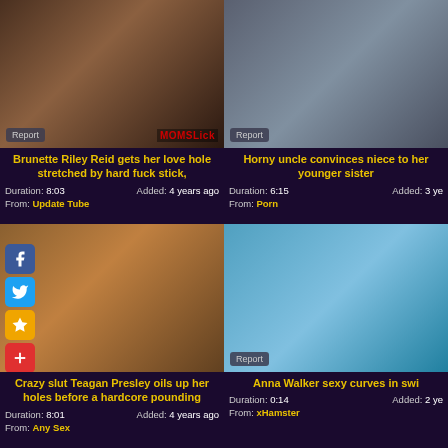[Figure (photo): Video thumbnail - adult content]
Brunette Riley Reid gets her love hole stretched by hard fuck stick,
Duration: 8:03   Added: 4 years ago
From: Update Tube
[Figure (photo): Video thumbnail - man in plaid shirt]
Horny uncle convinces niece to her younger sister
Duration: 6:15   Added: 3 years ago
From: Porn
[Figure (photo): Video thumbnail with social share icons overlay]
Crazy slut Teagan Presley oils up her holes before a hardcore pounding
Duration: 8:01   Added: 4 years ago
From: Any Sex
[Figure (photo): Video thumbnail - woman in blue swimsuit on beach]
Anna Walker sexy curves in swi
Duration: 0:14   Added: 2 years ago
From: xHamster